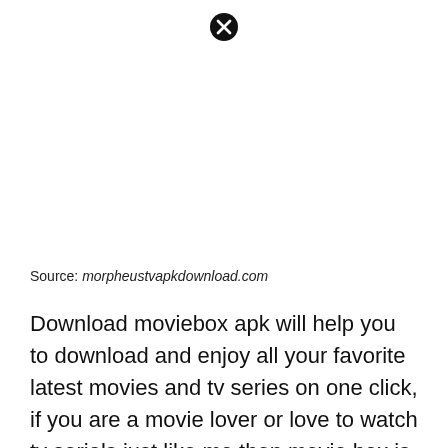[Figure (other): Close/cancel button icon — black circle with white X]
Source: morpheustvapkdownload.com
Download moviebox apk will help you to download and enjoy all your favorite latest movies and tv series on one click, if you are a movie lover or love to watch tv serials just like me then movie box is for you and will help you to watch online favorite moⓧies on time. This is an